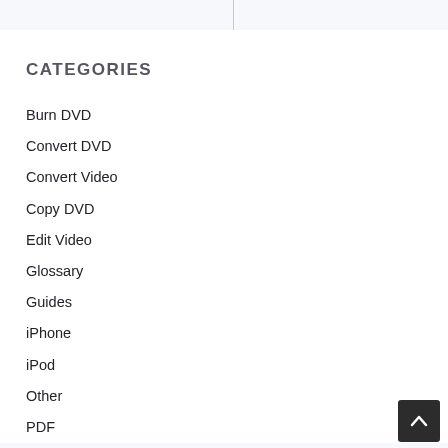CATEGORIES
Burn DVD
Convert DVD
Convert Video
Copy DVD
Edit Video
Glossary
Guides
iPhone
iPod
Other
PDF